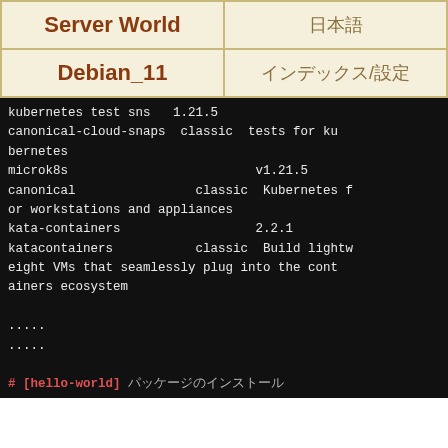| Server World | 日本語 |
| --- | --- |
| Debian_11 | インデックス/設定 |
kubernetes test sns   1.21.5
canonical-cloud-snaps  classic  tests for kubernetes
microk8s                              v1.21.5
canonical                 classic  Kubernetes for workstations and appliances
kata-containers                       2.2.1
katacontainers            classic  Build lightweight VMs that seamlessly plug into the containers ecosystem
.....
.....

# [hello-world] パッケージのインストール
root@dlp:~# snap install hello-world
2021-09-29T09:39:30+09:00 INFO Waiting for automatic snapd restart...
hello-world 6.4 from Canonical✓ installed

root@dlp:~# snap list